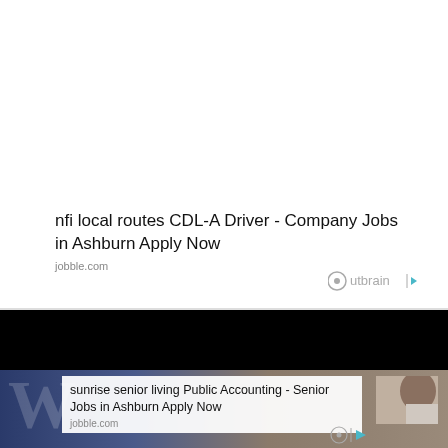nfi local routes CDL-A Driver - Company Jobs in Ashburn Apply Now
jobble.com
[Figure (logo): Outbrain logo with circular icon and arrow icon]
[Figure (photo): Black bar section divider]
[Figure (photo): Dark blue background with large W watermark and lower advertisement area showing person with brown hair]
sunrise senior living Public Accounting - Senior Jobs in Ashburn Apply Now
jobble.com